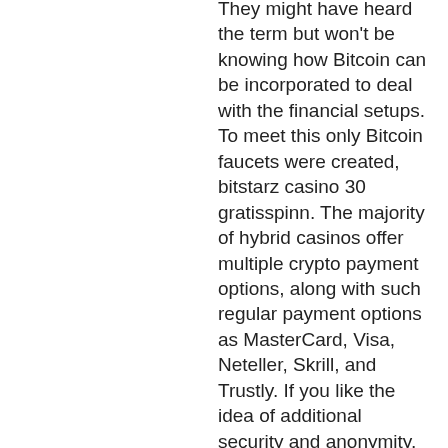They might have heard the term but won't be knowing how Bitcoin can be incorporated to deal with the financial setups. To meet this only Bitcoin faucets were created, bitstarz casino 30 gratisspinn. The majority of hybrid casinos offer multiple crypto payment options, along with such regular payment options as MasterCard, Visa, Neteller, Skrill, and Trustly. If you like the idea of additional security and anonymity, crypto payments are a great solution, bitstarz casino 30 бесплатные вращения. The welcome bonus goes all the way up to 1 BTC, making it a really attractive choice for gamblers based in the United States. They also give a 50% bonus for subsequent deposits and weekends, bitstarz casino 25 tours gratuits. Bitcoin is clearly the most well-known and most popular virtual currency. So much so that